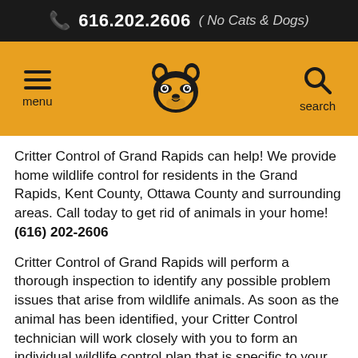📞 616.202.2606 ( No Cats & Dogs)
[Figure (screenshot): Website navigation bar with gold/amber background showing hamburger menu icon with 'menu' label on left, raccoon face logo in center, and magnifying glass search icon with 'search' label on right]
Critter Control of Grand Rapids can help! We provide home wildlife control for residents in the Grand Rapids, Kent County, Ottawa County and surrounding areas. Call today to get rid of animals in your home! (616) 202-2606
Critter Control of Grand Rapids will perform a thorough inspection to identify any possible problem issues that arise from wildlife animals. As soon as the animal has been identified, your Critter Control technician will work closely with you to form an individual wildlife control plan that is specific to your animal issue.
A wildlife control program can potentially include